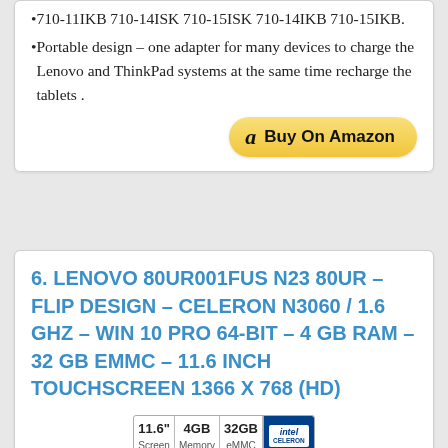710-11IKB 710-14ISK 710-15ISK 710-14IKB 710-15IKB.
Portable design – one adapter for many devices to charge the Lenovo and ThinkPad systems at the same time recharge the tablets .
[Figure (other): Buy On Amazon button with Amazon logo]
6. LENOVO 80UR001FUS N23 80UR – FLIP DESIGN – CELERON N3060 / 1.6 GHZ – WIN 10 PRO 64-BIT – 4 GB RAM – 32 GB EMMC – 11.6 INCH TOUCHSCREEN 1366 X 768 (HD)
[Figure (infographic): Specs bar showing 11.6" Screen | 4GB Memory | 32GB eMMC | Intel Celeron badge]